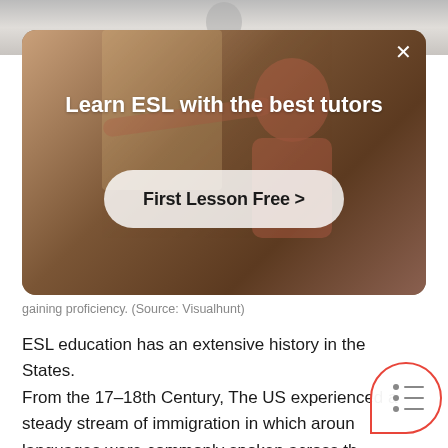[Figure (photo): Partially visible black and white photo of a smiling person at the top of the page]
[Figure (screenshot): Modal/banner overlay with background photo of person in red shirt in a classroom. Contains heading 'Learn ESL with the best tutors' and a white rounded button 'First Lesson Free >']
gaining proficiency. (Source: Visualhunt)
ESL education has an extensive history in the States.
From the 17–18th Century, The US experienced a steady stream of immigration in which aroun languages were commonly spoken across th country.